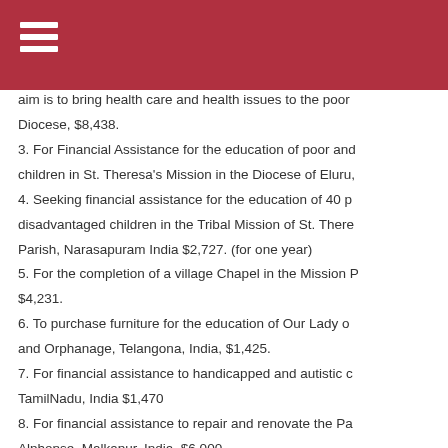2. For financial assistance to conduct a medical camp... aim is to bring health care and health issues to the poor... Diocese, $8,438.
3. For Financial Assistance for the education of poor and children in St. Theresa's Mission in the Diocese of Eluru,
4. Seeking financial assistance for the education of 40 disadvantaged children in the Tribal Mission of St. There... Parish, Narasapuram India $2,727. (for one year)
5. For the completion of a village Chapel in the Mission R... $4,231.
6. To purchase furniture for the education of Our Lady ... and Orphanage, Telangona, India, $1,425.
7. For financial assistance to handicapped and autistic c... TamilNadu, India $1,470
8. For financial assistance to repair and renovate the Pa... Alphonse, Malkapur, India, $6,000.
Africa